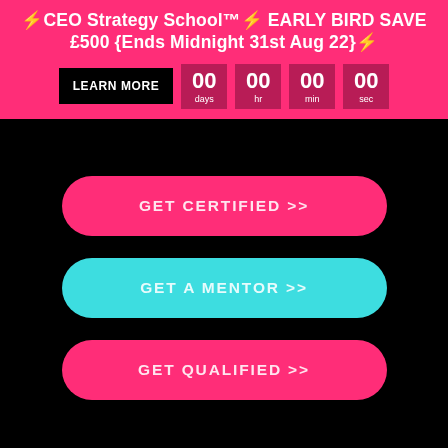⚡CEO Strategy School™⚡ EARLY BIRD SAVE £500 {Ends Midnight 31st Aug 22}⚡
LEARN MORE
00 days  00 hr  00 min  00 sec
GET CERTIFIED >>
GET A MENTOR >>
GET QUALIFIED >>